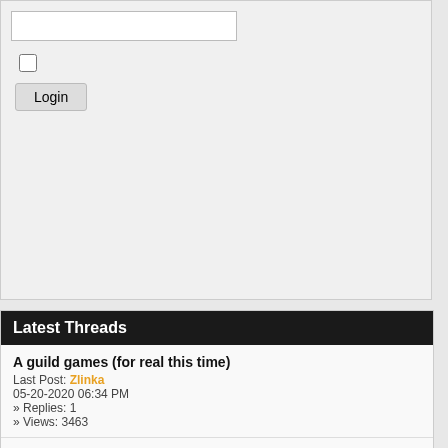Login input field
Login checkbox
Login button
Latest Threads
A guild games (for real this time)
Last Post: Zlinka
05-20-2020 06:34 PM
» Replies: 1
» Views: 3463
Alliance-Horde pet exchange
Last Post: Zlinka
05-16-2020 07:11 AM
» Replies: 3
» Views: 2873
Il'gynoth
Last Post: Zlinka
05-14-2020 02:51 PM
Gholjan
Iron-Singer
Posts: 100
Threads: 17
Likes Received: 0 in 0 posts
Likes Given: 0
Joined: Aug 2006
Find
[Figure (photo): Empty avatar placeholder image]
Efluvious
Raider
Posts: 582
Threads: 69
Likes Received: 0 in 0 posts
Likes Given: 0
href="http://www.t
ame.html</a><!--
i'm up to 17, I think
[Figure (photo): [Image: 2738341...] broken image placeholder]
12-15-2007, 08:21 PM
I'm stuck at level 5
"Passion and sham...
~Virgil~
[Figure (illustration): Stick figure with Gro title, Hemi-... subtitle, Current Z..., Familiar T..., Kingdom]